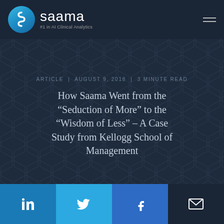saama | #1 in AI Clinical Analytics
ARTICLE  |  AUGUST 9, 2018  |  3 MINUTE READ
How Saama Went from the “Seduction of More” to the “Wisdom of Less” – A Case Study from Kellogg School of Management
[Figure (infographic): Social share bar with LinkedIn, Twitter, Facebook, and email icons]